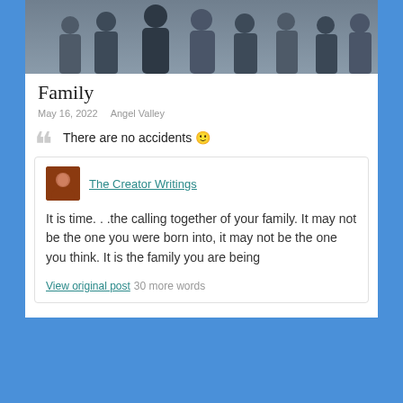[Figure (photo): Group of diverse young people laughing and smiling together, header image for blog post]
Family
May 16, 2022   Angel Valley
There are no accidents 🙂
The Creator Writings
It is time. . .the calling together of your family. It may not be the one you were born into, it may not be the one you think. It is the family you are being
View original post 30 more words